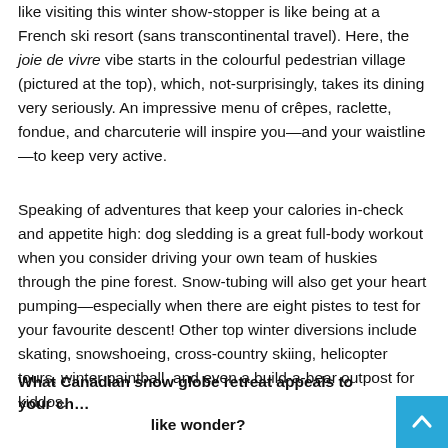like visiting this winter show-stopper is like being at a French ski resort (sans transcontinental travel). Here, the joie de vivre vibe starts in the colourful pedestrian village (pictured at the top), which, not-surprisingly, takes its dining very seriously. An impressive menu of crêpes, raclette, fondue, and charcuterie will inspire you—and your waistline—to keep very active.
Speaking of adventures that keep your calories in-check and appetite high: dog sledding is a great full-body workout when you consider driving your own team of huskies through the pine forest. Snow-tubing will also get your heart pumping—especially when there are eight pistes to test for your favourite descent! Other top winter diversions include skating, snowshoeing, cross-country skiing, helicopter tours, winter paintball, and even a build-a-bear outpost for kiddos.
What Canadian snow globe retreat appeals to your ch… like wonder?